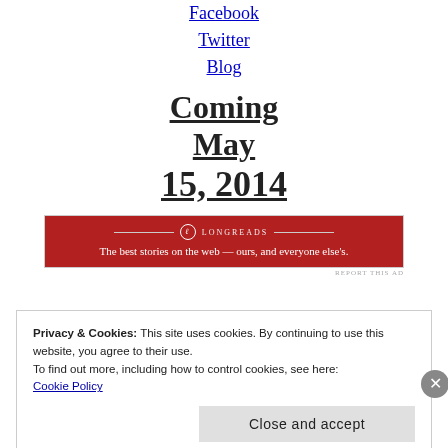Facebook
Twitter
Blog
Coming May 15, 2014
[Figure (other): Longreads advertisement banner: red background with white text 'The best stories on the web — ours, and everyone else's.']
Privacy & Cookies: This site uses cookies. By continuing to use this website, you agree to their use.
To find out more, including how to control cookies, see here: Cookie Policy
Close and accept